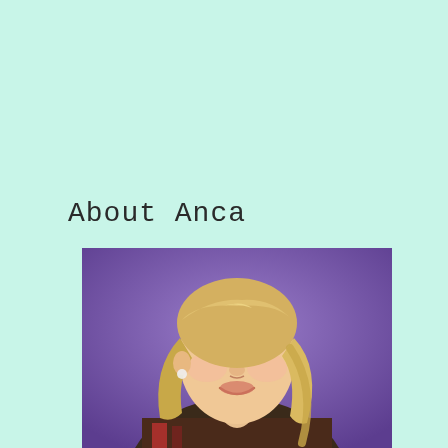About Anca
[Figure (photo): Portrait photo of a blonde woman (Anca) smiling, wearing a patterned top, against a purple background]